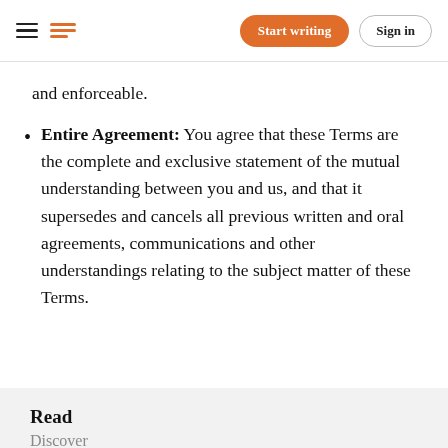Medium navigation bar with hamburger menu, Medium logo, Start writing button, Sign in button
and enforceable.
Entire Agreement: You agree that these Terms are the complete and exclusive statement of the mutual understanding between you and us, and that it supersedes and cancels all previous written and oral agreements, communications and other understandings relating to the subject matter of these Terms.
Read
Discover